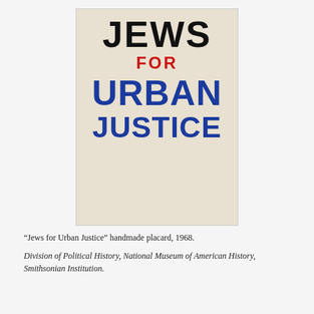[Figure (photo): A handmade placard on cream/off-white paper reading 'JEWS' in large black lettering, 'FOR' in red lettering, 'URBAN' in large blue lettering, and 'JUSTICE' in large blue lettering.]
“Jews for Urban Justice” handmade placard, 1968.
Division of Political History, National Museum of American History, Smithsonian Institution.